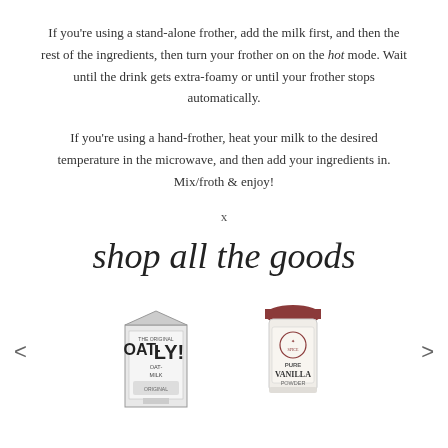If you're using a stand-alone frother, add the milk first, and then the rest of the ingredients, then turn your frother on on the hot mode. Wait until the drink gets extra-foamy or until your frother stops automatically.
If you're using a hand-frother, heat your milk to the desired temperature in the microwave, and then add your ingredients in. Mix/froth & enjoy!
x
shop all the goods
[Figure (photo): Two product images: an Oatly oat milk carton on the left and a vanilla powder/spice jar on the right, with left and right navigation arrows on either side.]